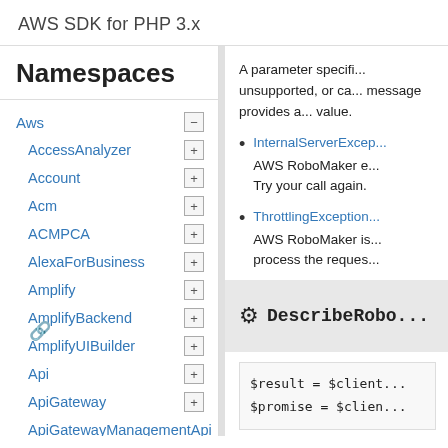AWS SDK for PHP 3.x
Namespaces
Aws
AccessAnalyzer
Account
Acm
ACMPCA
AlexaForBusiness
Amplify
AmplifyBackend
AmplifyUIBuilder
Api
ApiGateway
ApiGatewayManagementApi
A parameter specifi... unsupported, or ca... message provides a... value.
InternalServerExce... AWS RoboMaker e... Try your call again.
ThrottlingException... AWS RoboMaker is... process the reques...
DescribeRobo...
$result = $client...
$promise = $clien...